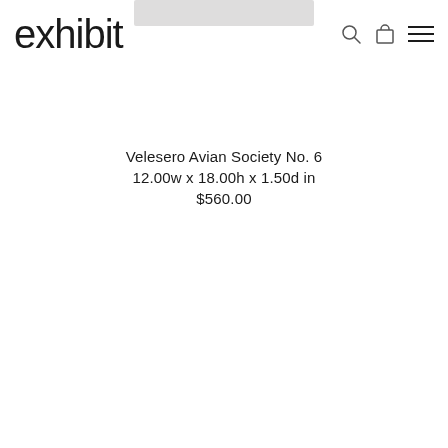exhibit
[Figure (photo): Product image thumbnail placeholder at top center of page]
Velesero Avian Society No. 6
12.00w x 18.00h x 1.50d in
$560.00